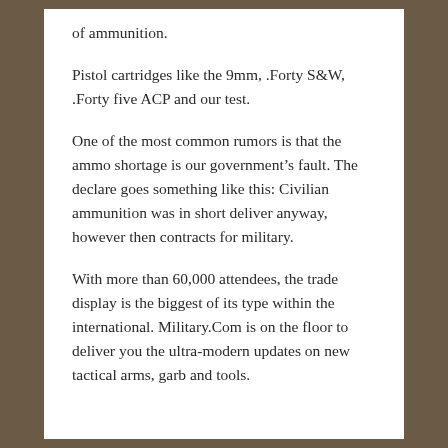of ammunition.
Pistol cartridges like the 9mm, .Forty S&W, .Forty five ACP and our test.
One of the most common rumors is that the ammo shortage is our government’s fault. The declare goes something like this: Civilian ammunition was in short deliver anyway, however then contracts for military.
With more than 60,000 attendees, the trade display is the biggest of its type within the international. Military.Com is on the floor to deliver you the ultra-modern updates on new tactical arms, garb and tools.